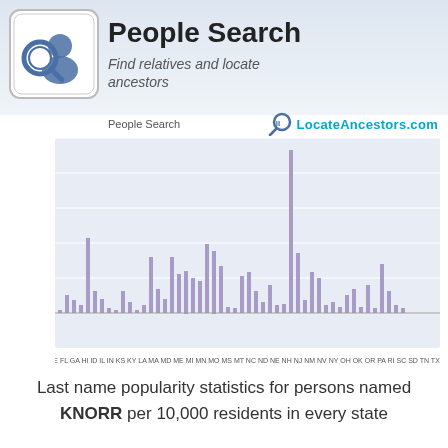[Figure (logo): Keyboard key with magnifying glass and person silhouette icon]
People Search
Find relatives and locate ancestors
[Figure (bar-chart): People Search — LocateAncestors.com]
Last name popularity statistics for persons named KNORR per 10,000 residents in every state